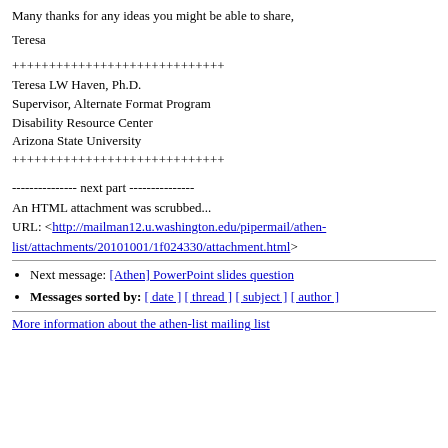Many thanks for any ideas you might be able to share,
Teresa
+++++++++++++++++++++++++++++
Teresa LW Haven, Ph.D.
Supervisor, Alternate Format Program
Disability Resource Center
Arizona State University
+++++++++++++++++++++++++++++
--------------- next part ---------------
An HTML attachment was scrubbed...
URL: <http://mailman12.u.washington.edu/pipermail/athen-list/attachments/20101001/1f024330/attachment.html>
Next message: [Athen] PowerPoint slides question
Messages sorted by: [ date ] [ thread ] [ subject ] [ author ]
More information about the athen-list mailing list